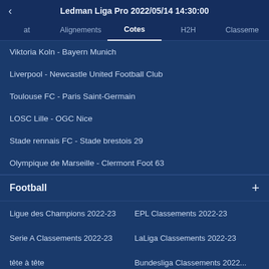Ledman Liga Pro 2022/05/14 14:30:00
Alignements  Cotes  H2H  Classements
Viktoria Koln - Bayern Munich
Liverpool - Newcastle United Football Club
Toulouse FC - Paris Saint-Germain
LOSC Lille - OGC Nice
Stade rennais FC - Stade brestois 29
Olympique de Marseille - Clermont Foot 63
Football
Ligue des Champions 2022-23
EPL Classements 2022-23
Serie A Classements 2022-23
LaLiga Classements 2022-23
tête à tête
Bundesliga Classements 2022...
Ligue 1 Classements 2022-23
Primeira Liga Classements 20...